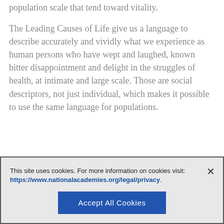population scale that tend toward vitality.
The Leading Causes of Life give us a language to describe accurately and vividly what we experience as human persons who have wept and laughed, known bitter disappointment and delight in the struggles of health, at intimate and large scale. Those are social descriptors, not just individual, which makes it possible to use the same language for populations.
This site uses cookies. For more information on cookies visit: https://www.nationalacademies.org/legal/privacy